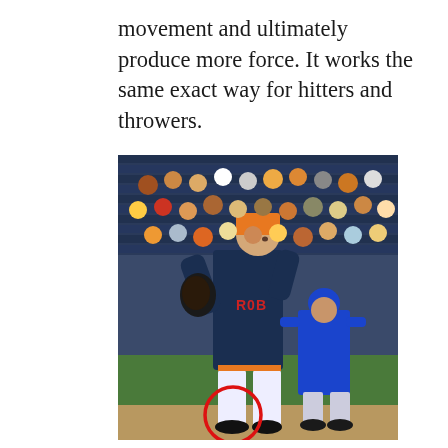movement and ultimately produce more force. It works the same exact way for hitters and throwers.
[Figure (photo): A baseball pitcher in a navy Houston Astros uniform with orange cap and mitt, mid-windup on the mound. A baserunner in a blue New York Mets uniform crouches in a ready stance behind him. A large crowd fills the stadium seats in the background. A red circle is drawn around the pitcher's foot/ankle area at the bottom of the image.]